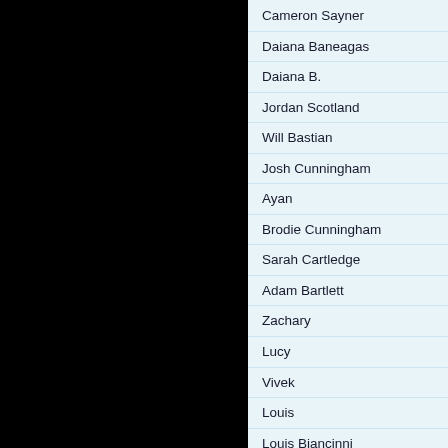[Figure (photo): Black rectangular area on the left side of the page]
Cameron Sayner
Daiana Baneagas
Daiana B.
Jordan Scotland
Will Bastian
Josh Cunningham
Ayan
Brodie Cunningham
Sarah Cartledge
Adam Bartlett
Zachary
Lucy
Vivek
Louis
Louis Biancinni
Brodie
Jack Weniton
Aditya
Georgia Lubcke